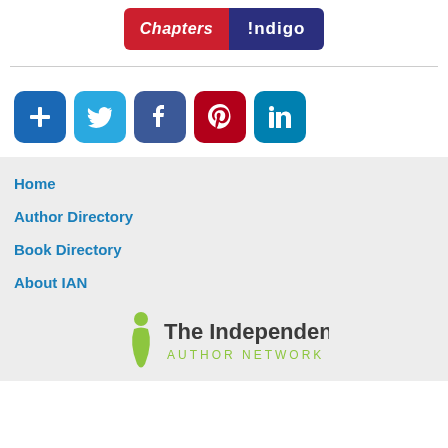[Figure (logo): Chapters Indigo logo — red left section with 'Chapters' in white italic text, blue right section with '!ndigo' in white bold text]
[Figure (infographic): Row of social media icon buttons: share (+), Twitter bird, Facebook f, Pinterest p, LinkedIn in]
Home
Author Directory
Book Directory
About IAN
[Figure (logo): The Independent Author Network logo — green ribbon/person figure on left, text 'The Independent AUTHOR NETWORK' in dark grey and green]